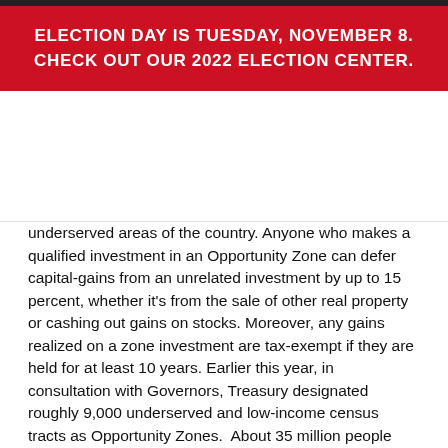ELECTION DAY IS TUESDAY, NOVEMBER 8. CHECK OUT OUR 2022 ELECTION CENTER.
underserved areas of the country. Anyone who makes a qualified investment in an Opportunity Zone can defer capital-gains from an unrelated investment by up to 15 percent, whether it’s from the sale of other real property or cashing out gains on stocks. Moreover, any gains realized on a zone investment are tax-exempt if they are held for at least 10 years. Earlier this year, in consultation with Governors, Treasury designated roughly 9,000 underserved and low-income census tracts as Opportunity Zones.  About 35 million people reside in an Opportunity Zone.
The regulations provide additional clarity about the how the program will operate and appear to be very favorable to real